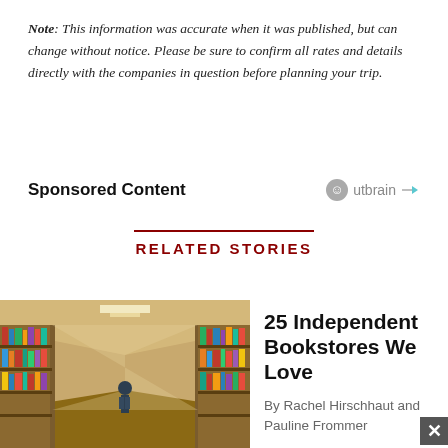Note: This information was accurate when it was published, but can change without notice. Please be sure to confirm all rates and details directly with the companies in question before planning your trip.
Sponsored Content
RELATED STORIES
[Figure (photo): Interior of a bookstore showing long aisles flanked by tall wooden shelves filled with books, with a person visible in the background]
25 Independent Bookstores We Love
By Rachel Hirschhaut and Pauline Frommer